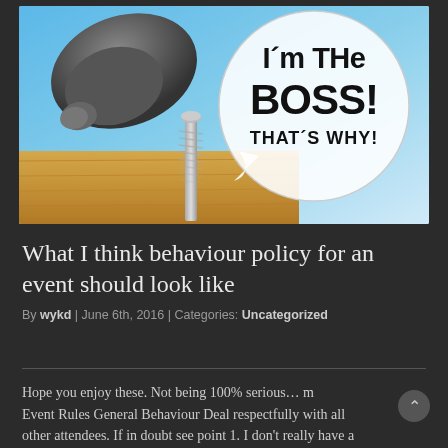[Figure (photo): A hammer about to strike a screw/nail embedded in wood, with a speech bubble saying "I'm the BOSS! THAT'S WHY!" on a light blue sky background.]
What I think behaviour policy for an event should look like
By wykd | June 6th, 2016 | Categories: Uncategorized
Hope you enjoy these. Not being 100% serious… My Event Rules General Behaviour Deal respectfully with all other attendees. If in doubt see point 1. I don't really have a